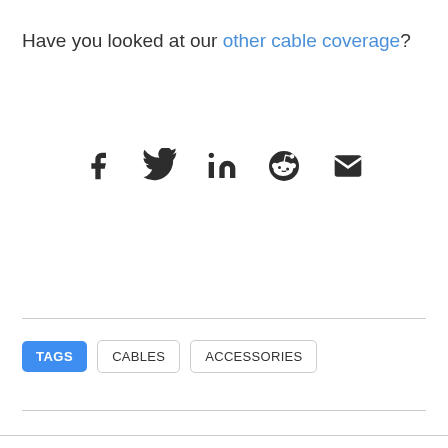Have you looked at our other cable coverage?
[Figure (infographic): Row of social media share icons: Facebook, Twitter, LinkedIn, Reddit, Email (envelope)]
TAGS  CABLES  ACCESSORIES